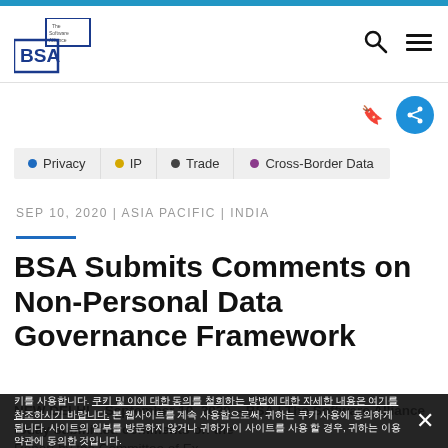BSA | The Software Alliance
Privacy
IP
Trade
Cross-Border Data
SEP 10, 2020 | ASIA PACIFIC | INDIA
BSA Submits Comments on Non-Personal Data Governance Framework
NEW DELHI – September 10, 2020 – BSA | The Software Alliance today submitted comments on the Report by the Committee of Experts on the Non-Personal Data...